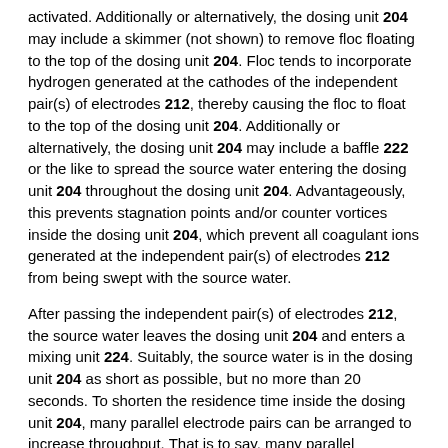activated. Additionally or alternatively, the dosing unit 204 may include a skimmer (not shown) to remove floc floating to the top of the dosing unit 204. Floc tends to incorporate hydrogen generated at the cathodes of the independent pair(s) of electrodes 212, thereby causing the floc to float to the top of the dosing unit 204. Additionally or alternatively, the dosing unit 204 may include a baffle 222 or the like to spread the source water entering the dosing unit 204 throughout the dosing unit 204. Advantageously, this prevents stagnation points and/or counter vortices inside the dosing unit 204, which prevent all coagulant ions generated at the independent pair(s) of electrodes 212 from being swept with the source water.
After passing the independent pair(s) of electrodes 212, the source water leaves the dosing unit 204 and enters a mixing unit 224. Suitably, the source water is in the dosing unit 204 as short as possible, but no more than 20 seconds. To shorten the residence time inside the dosing unit 204, many parallel electrode pairs can be arranged to increase throughput. That is to say, many parallel electrode pairs can be arranged along the length of the dosing unit 204 and simultaneously activated.